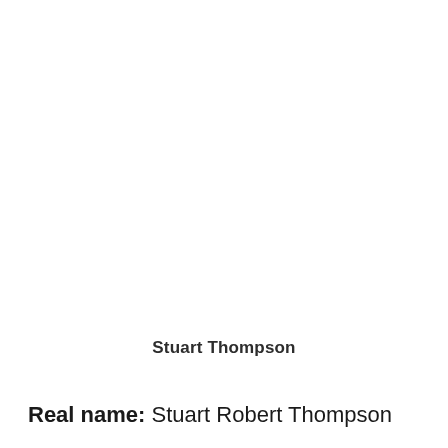Stuart Thompson
Real name: Stuart Robert Thompson